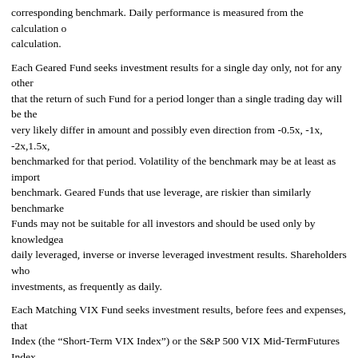corresponding benchmark. Daily performance is measured from the calculation of calculation.
Each Geared Fund seeks investment results for a single day only, not for any other that the return of such Fund for a period longer than a single trading day will be the very likely differ in amount and possibly even direction from -0.5x, -1x, -2x,1.5x, benchmarked for that period. Volatility of the benchmark may be at least as import benchmark. Geared Funds that use leverage, are riskier than similarly benchmarke Funds may not be suitable for all investors and should be used only by knowledgea daily leveraged, inverse or inverse leveraged investment results. Shareholders who investments, as frequently as daily.
Each Matching VIX Fund seeks investment results, before fees and expenses, that Index (the “Short-Term VIX Index”) or the S&P 500 VIX Mid-TermFutures Index Geared VIX Fund seeks daily investment results, before fees and expenses, that co Short-Term VIX Index. Each VIX Fund intends to obtain exposure to its benchmar based on the Chicago Board Options Exchange (“Cboe”) Volatility Index (the “VI
ProShares UltraShort Bloomberg Crude Oil, ProShares Ultra Gold, ProShares Ultr ProShares UltraShort Bloomberg Natural Gas, ProShares Ultra Bloomberg Crude C indexes designed to track the performance of commodity futures contracts, as appl Funds will likely be very different in amount and possibly even direction from the
Each Geared Fund continuously offers and redeems its Shares in blocks of 50,000 its Shares in blocks of 25,000 Shares (each such block a “Creation Unit”). Only Au and then only in Creation Units. An Authorized Participant is an entity that has ent the Funds. Shares of the Funds are offered to Authorized Participants in Creation U offer to the public, from time to time, Shares from